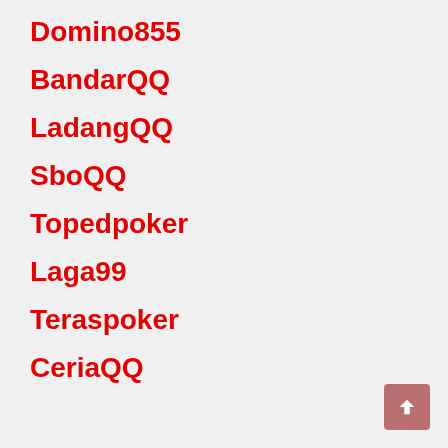Domino855
BandarQQ
LadangQQ
SboQQ
Topedpoker
Laga99
Teraspoker
CeriaQQ